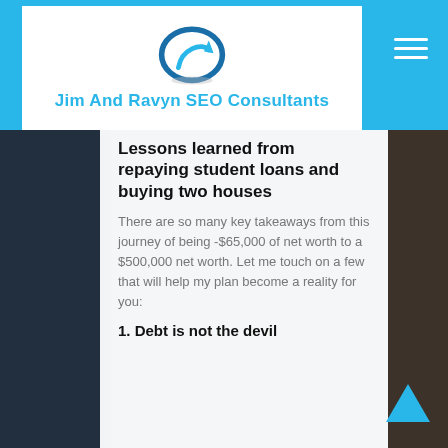Jim And Ravyn SEO Consultants
Lessons learned from repaying student loans and buying two houses
There are so many key takeaways from this journey of being -$65,000 of net worth to a $500,000 net worth. Let me touch on a few that will help my plan become a reality for you:
1. Debt is not the devil